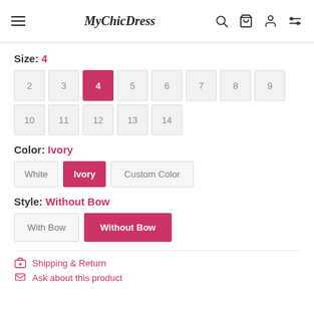MyChicDress — navigation header with hamburger menu, search, cart, account, and settings icons
Size: 4
Size options: 2, 3, 4 (selected), 5, 6, 7, 8, 9, 10, 11, 12, 13, 14
Color: Ivory
Color options: White, Ivory (selected), Custom Color
Style: Without Bow
Style options: With Bow, Without Bow (selected)
Shipping & Return
Ask about this product